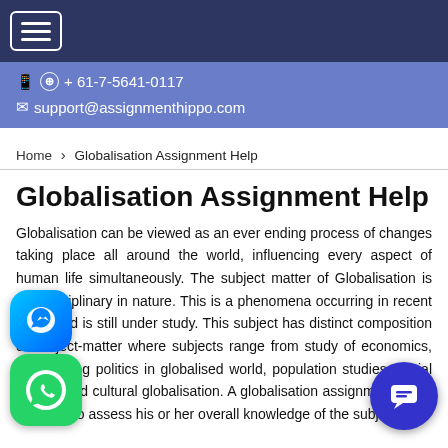Navigation bar with hamburger menu
📱 ⊕ + 61-7-5641-0117
✉ support@assignmenthippo.com
Home › Globalisation Assignment Help
Globalisation Assignment Help
Globalisation can be viewed as an ever ending process of changes taking place all around the world, influencing every aspect of human life simultaneously. The subject matter of Globalisation is interdisciplinary in nature. This is a phenomena occurring in recent years and is still under study. This subject has distinct composition of subject-matter where subjects range from study of economics, to changing politics in globalised world, population studies, social studies and cultural globalisation. A globalisation assignment helps students to assess his or her overall knowledge of the subject in